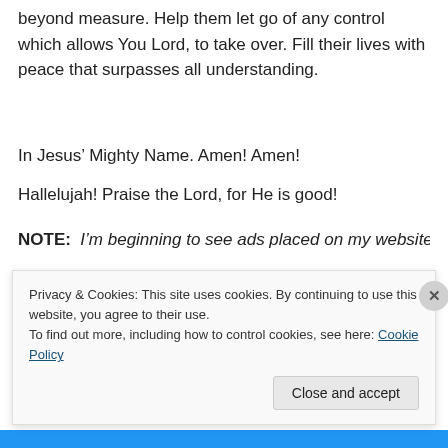beyond measure. Help them let go of any control which allows You Lord, to take over. Fill their lives with peace that surpasses all understanding.
In Jesus’ Mighty Name. Amen! Amen!
Hallelujah! Praise the Lord, for He is good!
NOTE:  I’m beginning to see ads placed on my website
Privacy & Cookies: This site uses cookies. By continuing to use this website, you agree to their use.
To find out more, including how to control cookies, see here: Cookie Policy